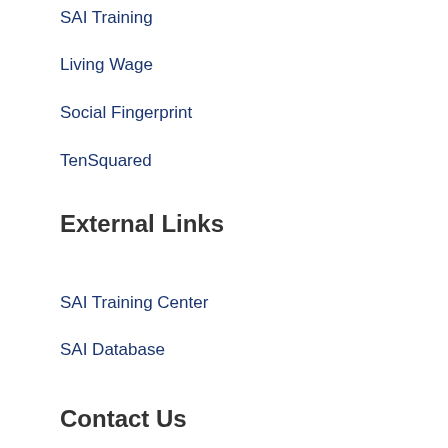SAI Training
Living Wage
Social Fingerprint
TenSquared
External Links
SAI Training Center
SAI Database
Contact Us